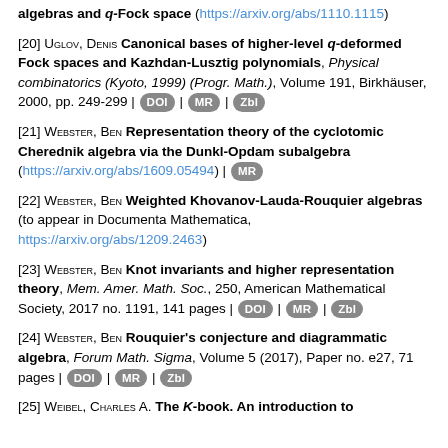[20] Uglov, Denis Canonical bases of higher-level q-deformed Fock spaces and Kazhdan-Lusztig polynomials, Physical combinatorics (Kyoto, 1999) (Progr. Math.), Volume 191, Birkhäuser, 2000, pp. 249-299 | DOI | MR | Zbl
[21] Webster, Ben Representation theory of the cyclotomic Cherednik algebra via the Dunkl-Opdam subalgebra (https://arxiv.org/abs/1609.05494) | MR
[22] Webster, Ben Weighted Khovanov-Lauda-Rouquier algebras (to appear in Documenta Mathematica, https://arxiv.org/abs/1209.2463)
[23] Webster, Ben Knot invariants and higher representation theory, Mem. Amer. Math. Soc., 250, American Mathematical Society, 2017 no. 1191, 141 pages | DOI | MR | Zbl
[24] Webster, Ben Rouquier's conjecture and diagrammatic algebra, Forum Math. Sigma, Volume 5 (2017), Paper no. e27, 71 pages | DOI | MR | Zbl
[25] Weibel, Charles A. The K-book. An introduction to